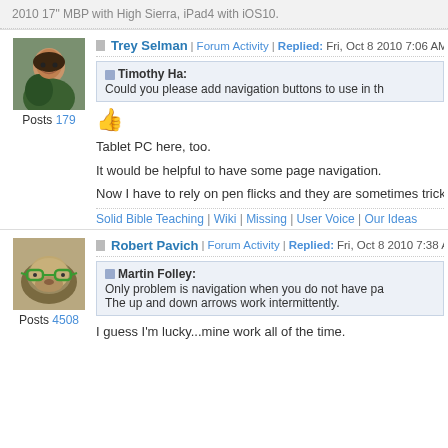2010 17" MBP with High Sierra, iPad4 with iOS10.
Trey Selman | Forum Activity | Replied: Fri, Oct 8 2010 7:06 AM |
Timothy Ha: Could you please add navigation buttons to use in th
Tablet PC here, too.
It would be helpful to have some page navigation.
Now I have to rely on pen flicks and they are sometimes tricky
Solid Bible Teaching | Wiki | Missing | User Voice | Our Ideas
Robert Pavich | Forum Activity | Replied: Fri, Oct 8 2010 7:38 AM |
Martin Folley: Only problem is navigation when you do not have pa The up and down arrows work intermittently.
I guess I'm lucky...mine work all of the time.
Posts 179
Posts 4508